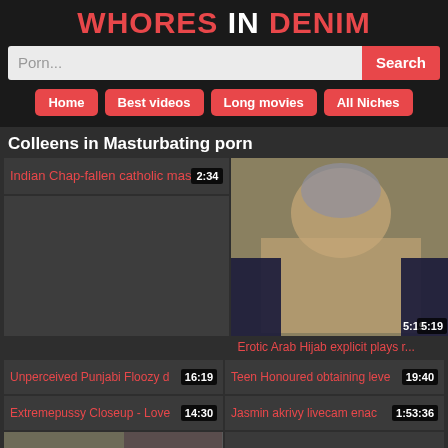WHORES IN DENIM
Porn...
Search
Home
Best videos
Long movies
All Niches
Colleens in Masturbating porn
Indian Chap-fallen catholic mas 2:34
[Figure (photo): Woman in hijab in explicit pose, duration 5:19]
Erotic Arab Hijab explicit plays r...
Unperceived Punjabi Floozy d 16:19
Teen Honoured obtaining leve 19:40
Extremepussy Closeup - Love 14:30
Jasmin akrivy livecam enac 1:53:36
[Figure (photo): Video thumbnail, duration 7:02]
sloppy legal age teenager adj 3:00